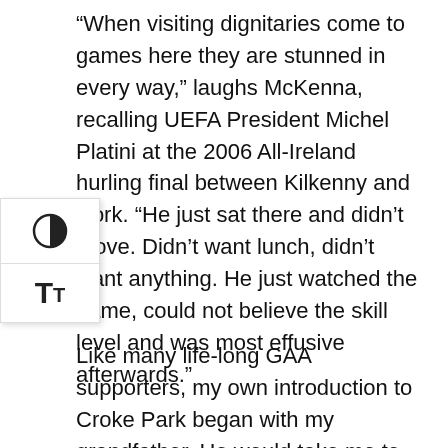“When visiting dignitaries come to games here they are stunned in every way,” laughs McKenna, recalling UEFA President Michel Platini at the 2006 All-Ireland hurling final between Kilkenny and Cork. “He just sat there and didn’t move. Didn’t want lunch, didn’t want anything. He just watched the game, could not believe the skill level and was most effusive afterwards.”
[Figure (other): UI overlay with contrast toggle icon and text size (TT) icon buttons]
Like many life-long GAA supporters, my own introduction to Croke Park began with my grandfather. He would take me to games on Sunday, wending our way through a tall forest of grey-coated men wearing brimmed hats. If today is technicolor, this was monochrome.